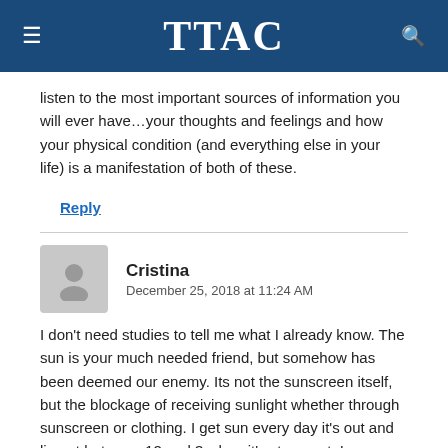TTAC
listen to the most important sources of information you will ever have…your thoughts and feelings and how your physical condition (and everything else in your life) is a manifestation of both of these.
Reply
Cristina
December 25, 2018 at 11:24 AM
I don't need studies to tell me what I already know. The sun is your much needed friend, but somehow has been deemed our enemy. Its not the sunscreen itself, but the blockage of receiving sunlight whether through sunscreen or clothing. I get sun every day it's out and lie out between 12 and 3 when it's strongest. I never wear sunscreen and usually I'm in very little clothing. My skin is soft, youthful and glowing. I also walk barefoot almost everywhere including rocks and still my feet are pretty